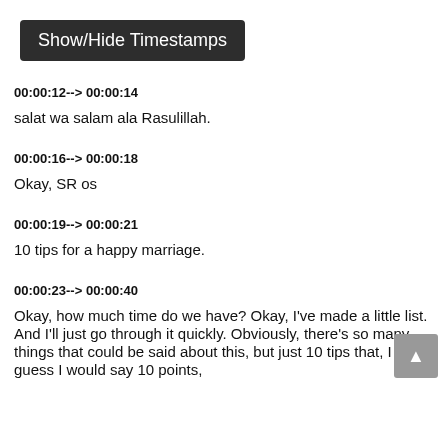Show/Hide Timestamps
00:00:12--> 00:00:14
salat wa salam ala Rasulillah.
00:00:16--> 00:00:18
Okay, SR os
00:00:19--> 00:00:21
10 tips for a happy marriage.
00:00:23--> 00:00:40
Okay, how much time do we have? Okay, I've made a little list. And I'll just go through it quickly. Obviously, there's so many things that could be said about this, but just 10 tips that, I guess I would say 10 points,